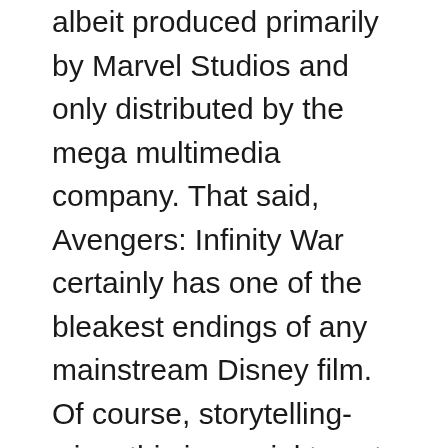albeit produced primarily by Marvel Studios and only distributed by the mega multimedia company. That said, Avengers: Infinity War certainly has one of the bleakest endings of any mainstream Disney film. Of course, storytelling-wise, this is crucial to set up the finale in Avengers: Endgame. However, it was still quite an upsetting experience for younger viewers looking to see their favorite superheroes triumph over the tyrannical Thanos.
Thanos manages to get a hold of all the Infinity Stones by the end of the movie